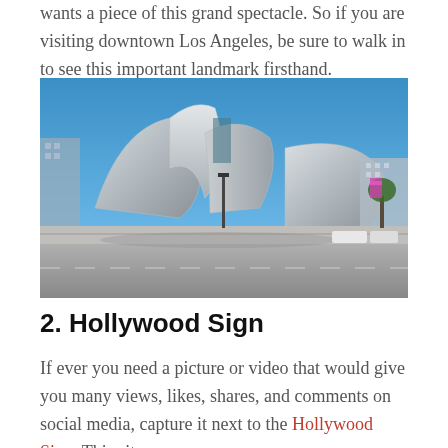wants a piece of this grand spectacle. So if you are visiting downtown Los Angeles, be sure to walk in to see this important landmark firsthand.
[Figure (photo): Exterior photograph of the Walt Disney Concert Hall in downtown Los Angeles, showing the distinctive stainless steel curved panels of Frank Gehry's design, under a clear blue sky, with street and sidewalk in the foreground.]
2. Hollywood Sign
If ever you need a picture or video that would give you many views, likes, shares, and comments on social media, capture it next to the Hollywood Sign. This site has long been a true symbol of the entertainment industry.